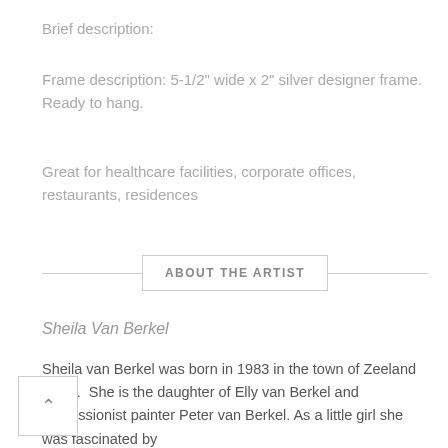Brief description:
Frame description: 5-1/2" wide x 2" silver designer frame. Ready to hang.
Great for healthcare facilities, corporate offices, restaurants, residences
ABOUT THE ARTIST
Sheila Van Berkel
Sheila van Berkel was born in 1983 in the town of Zeeland Goes. She is the daughter of Elly van Berkel and impressionist painter Peter van Berkel. As a little girl she was fascinated by